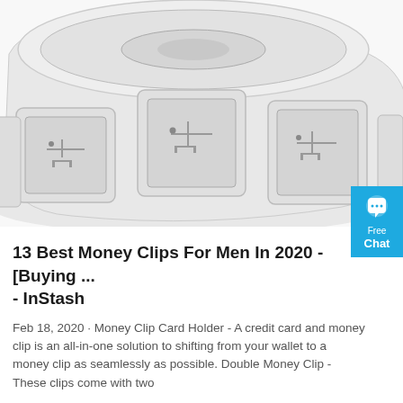[Figure (photo): A roll of NFC/RFID sticker labels on a white background, showing multiple square grey labels with circuit patterns on a curved roll of white backing tape.]
[Figure (infographic): Blue chat widget button with a speech bubble icon, showing 'Free Chat' text in white.]
13 Best Money Clips For Men In 2020 - [Buying ... - InStash
Feb 18, 2020 · Money Clip Card Holder - A credit card and money clip is an all-in-one solution to shifting from your wallet to a money clip as seamlessly as possible. Double Money Clip - These clips come with two